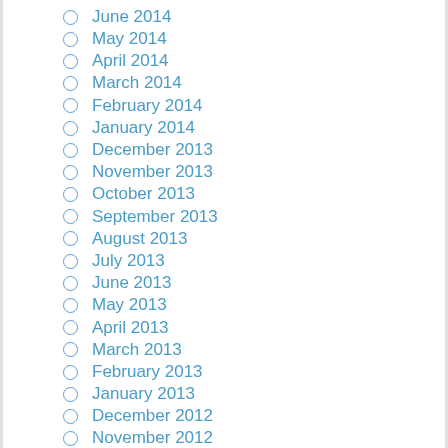June 2014
May 2014
April 2014
March 2014
February 2014
January 2014
December 2013
November 2013
October 2013
September 2013
August 2013
July 2013
June 2013
May 2013
April 2013
March 2013
February 2013
January 2013
December 2012
November 2012